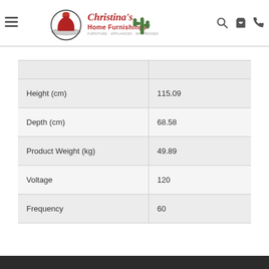Christina's Home Furnishings
|  |  |
| --- | --- |
|  |  |
| Height (cm) | 115.09 |
| Depth (cm) | 68.58 |
| Product Weight (kg) | 49.89 |
| Voltage | 120 |
| Frequency | 60 |